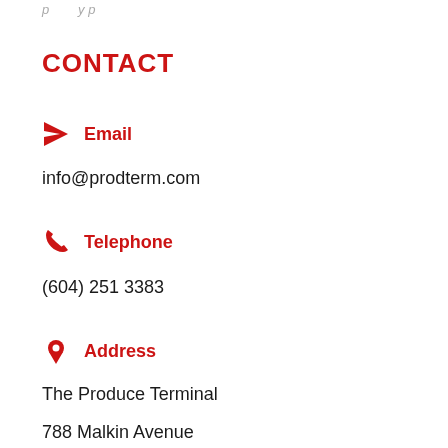CONTACT
Email
info@prodterm.com
Telephone
(604) 251 3383
Address
The Produce Terminal
788 Malkin Avenue